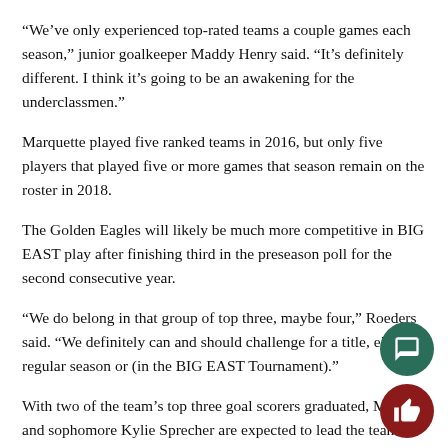“We’ve only experienced top-rated teams a couple games each season,” junior goalkeeper Maddy Henry said. “It’s definitely different. I think it’s going to be an awakening for the underclassmen.”
Marquette played five ranked teams in 2016, but only five players that played five or more games that season remain on the roster in 2018.
The Golden Eagles will likely be much more competitive in BIG EAST play after finishing third in the preseason poll for the second consecutive year.
“We do belong in that group of top three, maybe four,” Roeders said. “We definitely can and should challenge for a title, either regular season or (in the BIG EAST Tournament).”
With two of the team’s top three goal scorers graduated, Madden and sophomore Kylie Sprecher are expected to lead the team’s scoring attack again in 2018. It’s a role Madden has embraced in the last two seasons.
“Carrie is a great team player, but at the same time, Carrie is also like…